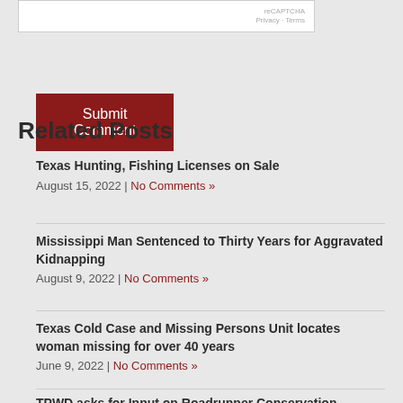[Figure (other): reCAPTCHA widget showing 'reCAPTCHA' text and 'Privacy - Terms' links]
Submit Comment
Related Posts
Texas Hunting, Fishing Licenses on Sale
August 15, 2022 | No Comments »
Mississippi Man Sentenced to Thirty Years for Aggravated Kidnapping
August 9, 2022 | No Comments »
Texas Cold Case and Missing Persons Unit locates woman missing for over 40 years
June 9, 2022 | No Comments »
TPWD asks for Input on Roadrunner Conservation